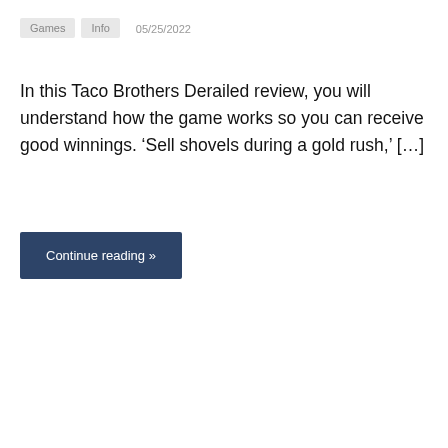Games
Info
05/25/2022
In this Taco Brothers Derailed review, you will understand how the game works so you can receive good winnings. ‘Sell shovels during a gold rush,’ […]
Continue reading »